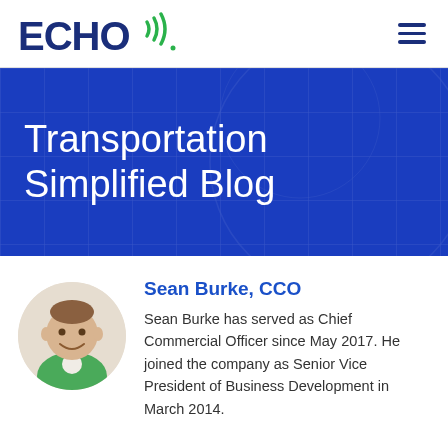[Figure (logo): ECHO logo with sound wave marks in dark navy blue]
ECHO (logo) with hamburger menu icon
Transportation Simplified Blog
[Figure (photo): Circular headshot of Sean Burke, a smiling man in a green shirt]
Sean Burke, CCO
Sean Burke has served as Chief Commercial Officer since May 2017. He joined the company as Senior Vice President of Business Development in March 2014.